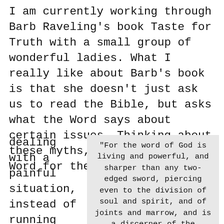I am currently working through Barb Raveling's book Taste for Truth with a small group of wonderful ladies. What I really like about Barb's book is that she doesn't just ask us to read the Bible, but asks what the Word says about certain issues. Thinking about these myths, I searched God's Word for the truth. If I am
dealing with a painful situation, instead of running away or sweeping it under
"For the word of God is living and powerful, and sharper than any two-edged sword, piercing even to the division of soul and spirit, and of joints and marrow, and is a discerner of the thoughts and intents of the heart."